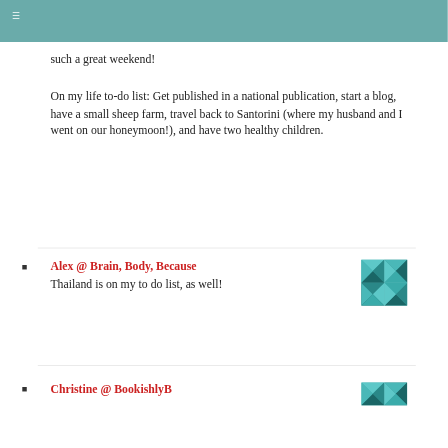≡
such a great weekend!
On my life to-do list: Get published in a national publication, start a blog, have a small sheep farm, travel back to Santorini (where my husband and I went on our honeymoon!), and have two healthy children.
Alex @ Brain, Body, Because
Thailand is on my to do list, as well!
Christine @ BookishlyB